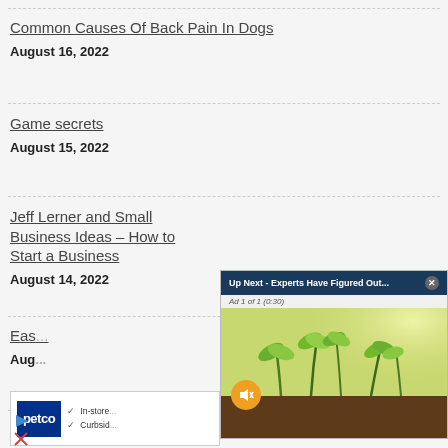Common Causes Of Back Pain In Dogs
August 16, 2022
Game secrets
August 15, 2022
Jeff Lerner and Small Business Ideas – How to Start a Business
August 14, 2022
Eas...
Aug...
[Figure (screenshot): Video ad overlay: 'Up Next - Experts Have Figured Out...' with a close button (X), showing sprout/seedlings growing from soil, with mute button and 'Ad 1 of 1 (0:30)' label]
[Figure (screenshot): Petco advertisement banner with logo, checkmarks, 'In-store' and 'Curbside' text, with play and X ad icons below]